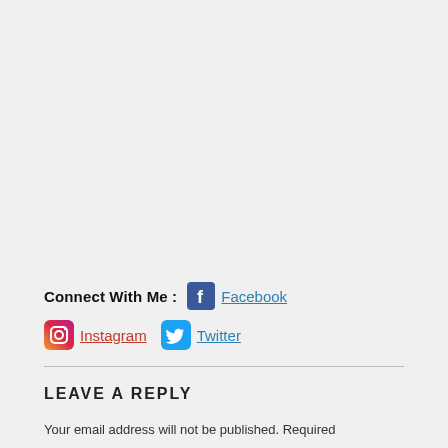Connect With Me:  Facebook  Instagram  Twitter
LEAVE A REPLY
Your email address will not be published. Required